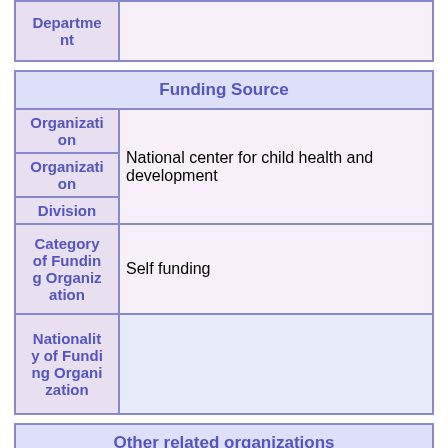| Label | Value |
| --- | --- |
| Department |  |
| Funding Source |
| --- |
| Organization |  |
| Organization | National center for child health and development |
| Division |  |
| Category of Funding Organization | Self funding |
| Nationality of Funding Organization |  |
| Other related organizations |
| --- |